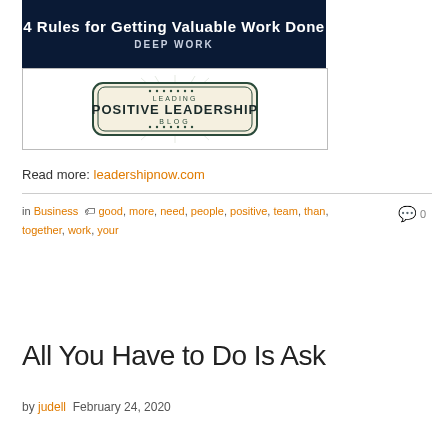[Figure (illustration): Book cover image for 'Deep Work: 4 Rules for Getting Valuable Work Done' with dark navy background and bold white text, followed by a 'Leading Positive Leadership Blog' logo badge below it.]
Read more: leadershipnow.com
in Business  good, more, need, people, positive, team, than, together, work, your  0
All You Have to Do Is Ask
by judell  February 24, 2020